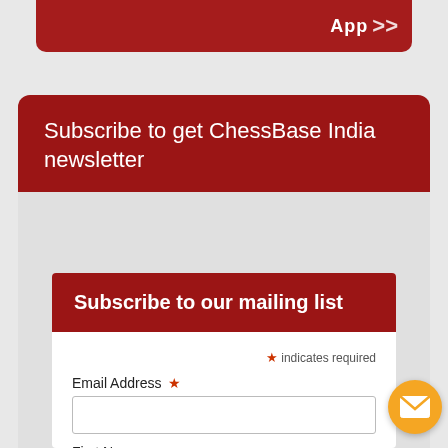App >>
Subscribe to get ChessBase India newsletter
Subscribe to our mailing list
* indicates required
Email Address *
First Name
Last Name